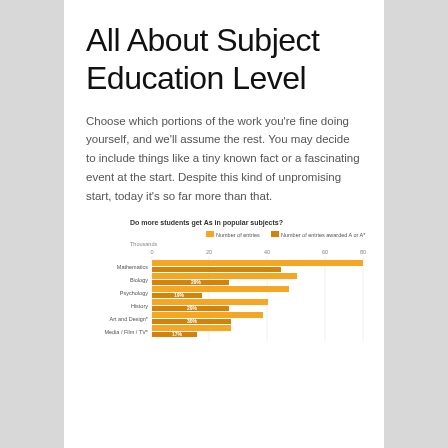All About Subject Education Level
Choose which portions of the work you're fine doing yourself, and we'll assume the rest. You may decide to include things like a tiny known fact or a fascinating event at the start. Despite this kind of unpromising start, today it's so far more than that.
[Figure (grouped-bar-chart): Do more students get As in popular subjects?]